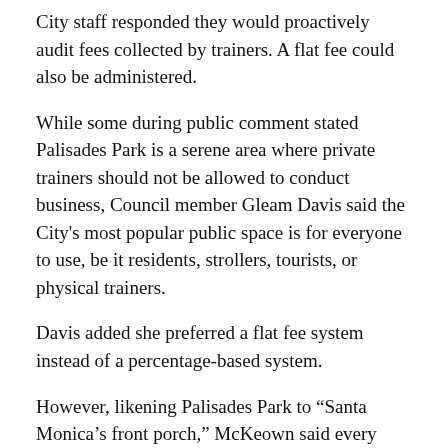City staff responded they would proactively audit fees collected by trainers. A flat fee could also be administered.
While some during public comment stated Palisades Park is a serene area where private trainers should not be allowed to conduct business, Council member Gleam Davis said the City’s most popular public space is for everyone to use, be it residents, strollers, tourists, or physical trainers.
Davis added she preferred a flat fee system instead of a percentage-based system.
However, likening Palisades Park to “Santa Monica’s front porch,” McKeown said every park has a different purpose and public training does not really have a place at the open space.
“Palisades Park is a very special place. It’s not that it’s elitist. It’s just the nature of that park. There are certain things, if you own a home, that you do in a yard and